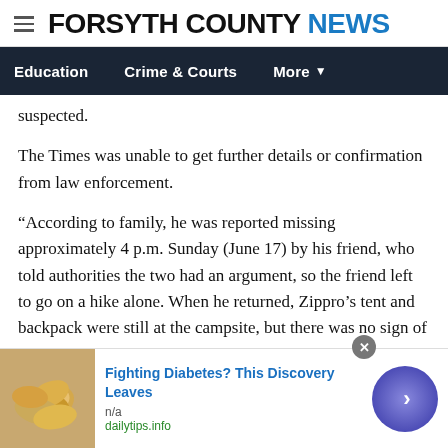FORSYTH COUNTY NEWS
Education   Crime & Courts   More
suspected.
The Times was unable to get further details or confirmation from law enforcement.
“According to family, he was reported missing approximately 4 p.m. Sunday (June 17) by his friend, who told authorities the two had an argument, so the friend left to go on a hike alone. When he returned, Zippro’s tent and backpack were still at the campsite, but there was no sign of him,” according to an earlier news release.
[Figure (infographic): Advertisement banner: cashew nuts image with text 'Fighting Diabetes? This Discovery Leaves', source 'dailytips.info', with close button and arrow navigation circle]